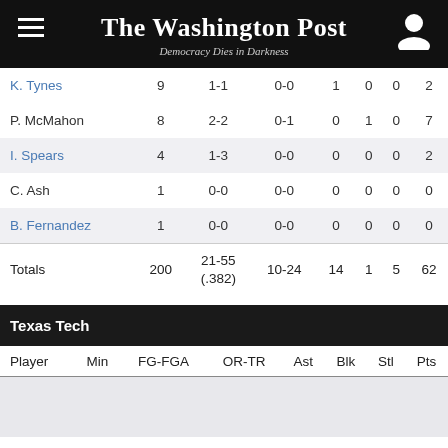The Washington Post — Democracy Dies in Darkness
| Player | Min | FG-FGA | OR-TR | Ast | Blk | Stl | Pts |
| --- | --- | --- | --- | --- | --- | --- | --- |
| K. Tynes | 9 | 1-1 | 0-0 | 1 | 0 | 0 | 2 |
| P. McMahon | 8 | 2-2 | 0-1 | 0 | 1 | 0 | 7 |
| I. Spears | 4 | 1-3 | 0-0 | 0 | 0 | 0 | 2 |
| C. Ash | 1 | 0-0 | 0-0 | 0 | 0 | 0 | 0 |
| B. Fernandez | 1 | 0-0 | 0-0 | 0 | 0 | 0 | 0 |
| Totals | 200 | 21-55 (.382) | 10-24 | 14 | 1 | 5 | 62 |
Texas Tech
| Player | Min | FG-FGA | OR-TR | Ast | Blk | Stl | Pts |
| --- | --- | --- | --- | --- | --- | --- | --- |